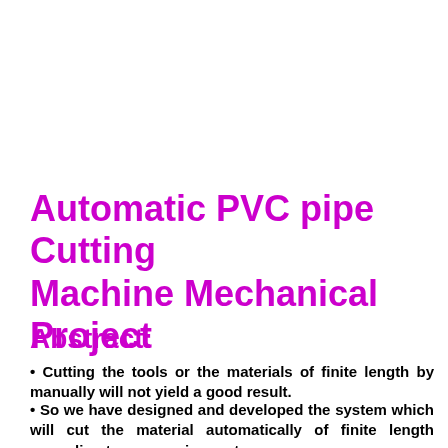Automatic PVC pipe Cutting Machine Mechanical Project
Abstract:
• Cutting the tools or the materials of finite length by manually will not yield a good result.
• So we have designed and developed the system which will cut the material automatically of finite length according to our requirements.